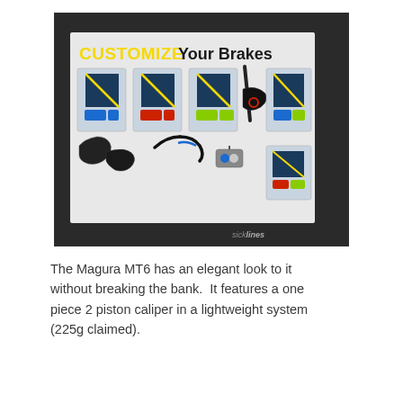[Figure (photo): Photo of a Magura brake customization display board showing 'CUSTOMIZE Your Brakes' with multiple colorful brake lever and caliper options in packaging (blue, red, yellow/green) and assembled brake components. Sicklines watermark in bottom right.]
The Magura MT6 has an elegant look to it without breaking the bank.  It features a one piece 2 piston caliper in a lightweight system (225g claimed).